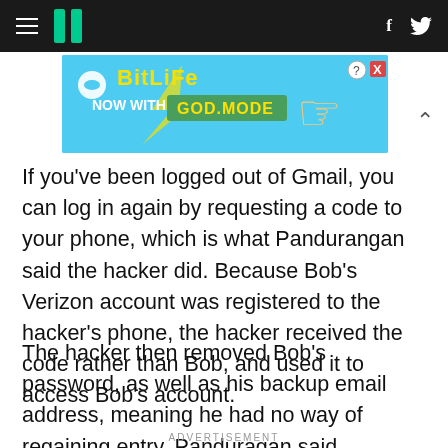HuffPost navigation bar with hamburger menu, logo, Facebook and Twitter icons
[Figure (infographic): BitLife advertisement banner - 'NOW WITH GOD MODE' on a teal background with cartoon hand pointing]
If you've been logged out of Gmail, you can log in again by requesting a code to your phone, which is what Pandurangan said the hacker did. Because Bob's Verizon account was registered to the hacker's phone, the hacker received the code rather than Bob, and used it to access Bob's account.
The hacker then removed Bob's password, as well as his backup email address, meaning he had no way of regaining entry, Panduragan said.
ADVERTISEMENT